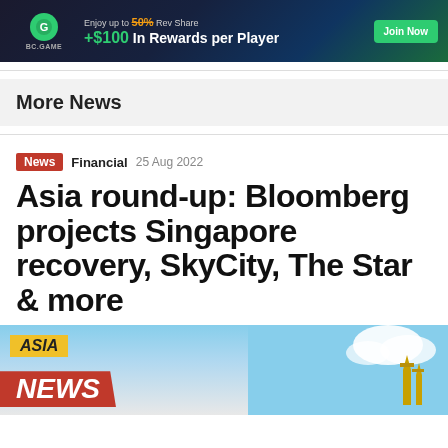[Figure (illustration): BC.GAME advertisement banner: dark background with green and gaming elements, text 'Enjoy up to 50% Rev Share + $100 In Rewards per Player', green 'Join Now' button]
More News
News  Financial  25 Aug 2022
Asia round-up: Bloomberg projects Singapore recovery, SkyCity, The Star & more
[Figure (photo): Asia News graphic: yellow 'ASIA' label, large red 'NEWS' text on banner, blue sky with clouds and golden pagoda towers on the right]